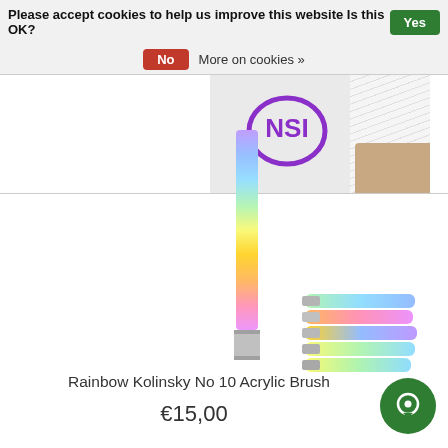Please accept cookies to help us improve this website Is this OK?   Yes
No   More on cookies »
[Figure (photo): NSI nail brand logo circle with stylized letters in purple, and nail brushes/nail tips in background]
[Figure (photo): Single rainbow holographic glitter acrylic nail brush with silver metal ferrule, standing vertically]
[Figure (photo): Multiple rainbow holographic glitter acrylic nail brushes fanned out together with silver ferrules]
Rainbow Kolinsky No 10 Acrylic Brush
€15,00